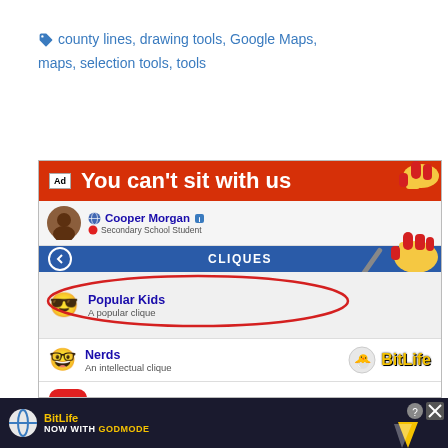county lines, drawing tools, Google Maps, maps, selection tools, tools
[Figure (screenshot): BitLife game advertisement showing 'You can't sit with us' cliques feature with Cooper Morgan profile, Popular Kids and Nerds cliques, and a red arrow pointing to Popular Kids circle. Bottom shows BitLife - Life Simulator app row and a lower ad banner.]